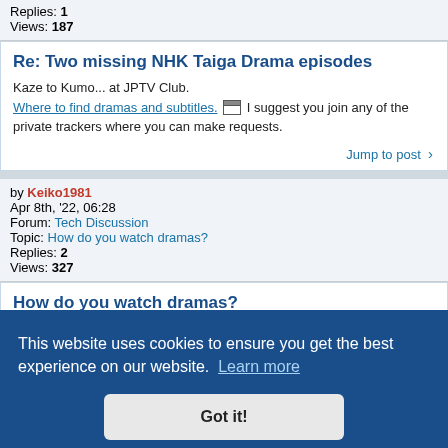Replies: 1
Views: 187
Re: Two missing NHK Taiga Drama episodes
Kaze to Kumo... at JPTV Club.
Where to find dramas and subtitles. [icon] I suggest you join any of the private trackers where you can make requests.
Jump to post >
by Keiko1981
Apr 8th, '22, 06:28
Forum: Tech Discussion
Topic: How do you watch dramas?
Replies: 2
Views: 327
How do you watch dramas?
How do you watch dramas? I've noticed people commenting on the forum about it... like they do so while flying... but then again... This
[Figure (screenshot): Cookie consent banner overlay with dark blue background reading 'This website uses cookies to ensure you get the best experience on our website. Learn more' with a 'Got it!' button.]
Replies: 14
Views: 8654